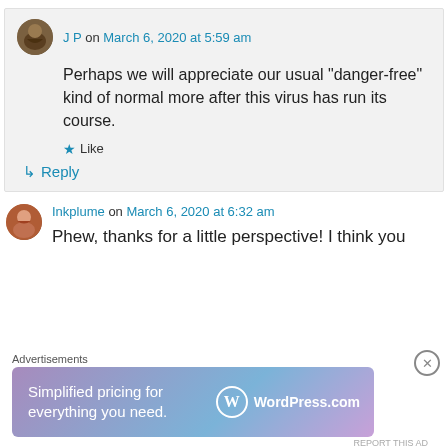J P on March 6, 2020 at 5:59 am
Perhaps we will appreciate our usual “danger-free” kind of normal more after this virus has run its course.
★ Like
↳ Reply
Inkplume on March 6, 2020 at 6:32 am
Phew, thanks for a little perspective! I think you
Advertisements
Simplified pricing for everything you need. WordPress.com